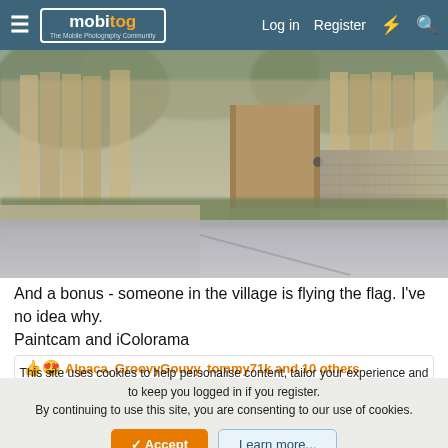mobitog — The Mobile Photography Community | Log in | Register
[Figure (photo): Outdoor photo of a wooden gate/fence with stone wall to the right, green grass, and a road/path at the bottom. Scene appears slightly blurred or painterly, taken in a village setting. Sky and tree canopy visible at top.]
And a bonus - someone in the village is flying the flag. I've no idea why.
Paintcam and iColorama
👍😍 Alpaca, GroovyGouvy, tommy71k and 10 others
This site uses cookies to help personalise content, tailor your experience and to keep you logged in if you register.
By continuing to use this site, you are consenting to our use of cookies.
✓ Accept    Learn more...